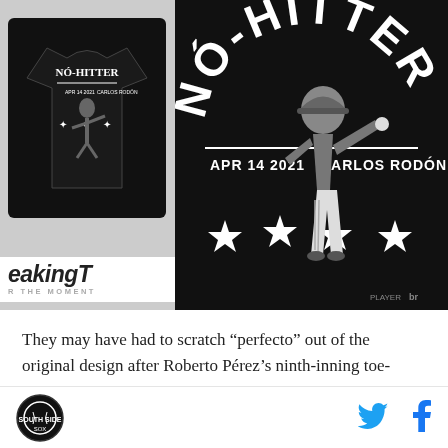[Figure (photo): Left panel showing a black t-shirt with 'No-Hitter' text and baseball pitcher design, with BreakingT logo below. Right panel shows close-up of black t-shirt design reading 'NÓ-HITTER' with 'APR 14 2021' and 'CARLOS RODÓN', featuring a baseball pitcher illustration and star decorations.]
[Figure (logo): BreakingT logo with italic text 'eakingT' and tagline 'R THE MOMENT']
They may have had to scratch “perfecto” out of the original design after Roberto Pérez’s ninth-inning toe-
[Figure (logo): South Side Sox circular site logo in black]
[Figure (logo): Twitter bird icon in blue]
[Figure (logo): Facebook f icon in blue]